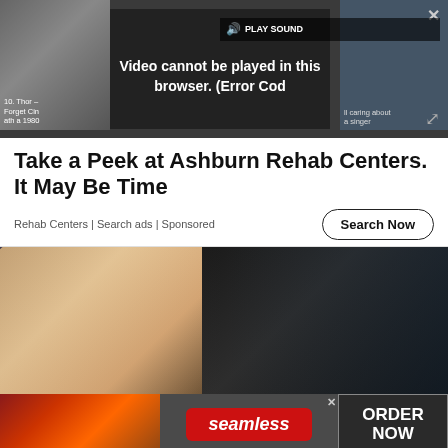[Figure (screenshot): Video player showing error message: 'Video cannot be played in this browser. (Error Cod' with PLAY SOUND button, film strip thumbnails on sides, close and expand buttons]
Take a Peek at Ashburn Rehab Centers. It May Be Time
Rehab Centers | Search ads | Sponsored
[Figure (photo): Photo of a blonde woman in a green dress with a man in a dark suit, at what appears to be a formal event]
[Figure (screenshot): Seamless food delivery advertisement banner with pizza image, seamless logo in red, and ORDER NOW button]